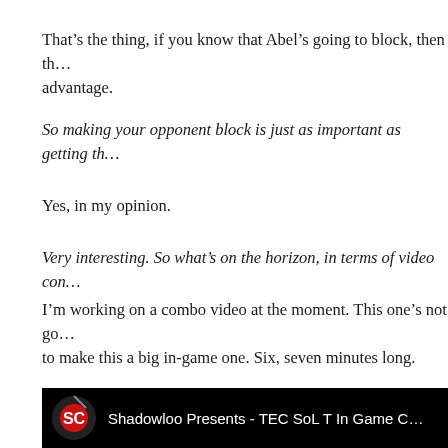That’s the thing, if you know that Abel’s going to block, then th… advantage.
So making your opponent block is just as important as getting th…
Yes, in my opinion.
Very interesting. So what’s on the horizon, in terms of video con…
I’m working on a combo video at the moment. This one’s not go… to make this a big in-game one. Six, seven minutes long.
[Figure (screenshot): Video thumbnail/embed showing 'Shadowloo Presents - TEC SoL T In Game C...' with a dark background and a logo on the left]